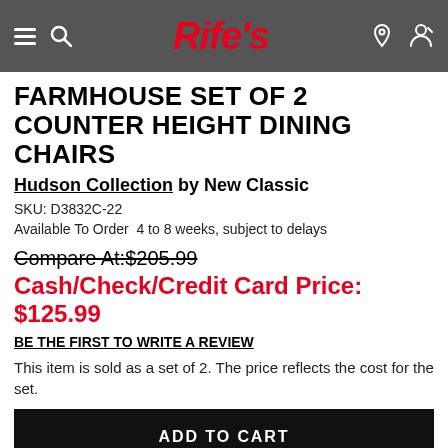Rife's
FARMHOUSE SET OF 2 COUNTER HEIGHT DINING CHAIRS
Hudson Collection by New Classic
SKU: D3832C-22
Available To Order  4 to 8 weeks, subject to delays
Compare At:$205.99
Cash/Check/Credit Card Price: $125.99
BE THE FIRST TO WRITE A REVIEW
This item is sold as a set of 2. The price reflects the cost for the set.
ADD TO CART
ASK A QUESTION